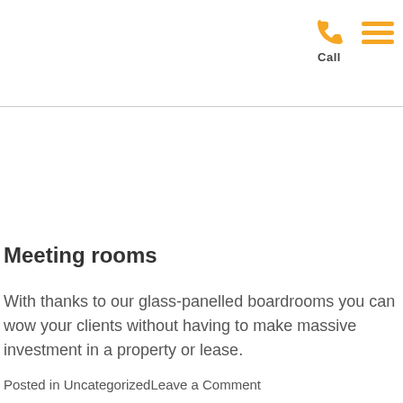Call [menu icon]
Meeting rooms
With thanks to our glass-panelled boardrooms you can wow your clients without having to make massive investment in a property or lease.
Posted in UncategorizedLeave a Comment